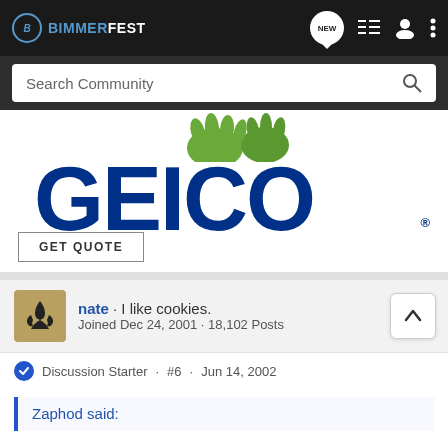BIMMERFEST
[Figure (logo): GEICO insurance advertisement with gecko and GEICO logo, with GET QUOTE button]
nate · I like cookies.
Joined Dec 24, 2001 · 18,102 Posts
Discussion Starter · #6 · Jun 14, 2002
Zaphod said: